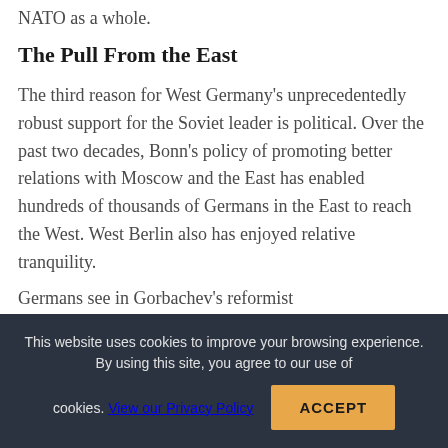NATO as a whole.
The Pull From the East
The third reason for West Germany's unprecedentedly robust support for the Soviet leader is political. Over the past two decades, Bonn's policy of promoting better relations with Moscow and the East has enabled hundreds of thousands of Germans in the East to reach the West. West Berlin also has enjoyed relative tranquility.
Germans see in Gorbachev's reformist
This website uses cookies to improve your browsing experience. By using this site, you agree to our use of cookies. View our Privacy Policy
ACCEPT